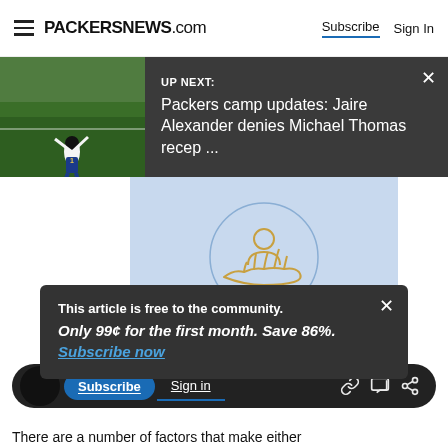PACKERSNEWS.com  Subscribe  Sign In
[Figure (screenshot): UP NEXT banner showing a Packers player on a football field with text: UP NEXT: Packers camp updates: Jaire Alexander denies Michael Thomas recep ...]
[Figure (illustration): Light blue panel with a circular icon showing a person figure being held by a hand, representing subscriber/community membership]
This article is free to the community. Only 99¢ for the first month. Save 86%. Subscribe now
There are a number of factors that make either